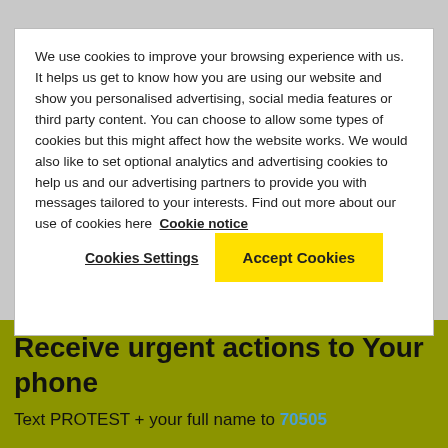We use cookies to improve your browsing experience with us. It helps us get to know how you are using our website and show you personalised advertising, social media features or third party content. You can choose to allow some types of cookies but this might affect how the website works. We would also like to set optional analytics and advertising cookies to help us and our advertising partners to provide you with messages tailored to your interests. Find out more about our use of cookies here Cookie notice
Cookies Settings
Accept Cookies
Receive urgent actions to Your phone
Text PROTEST + your full name to 70505